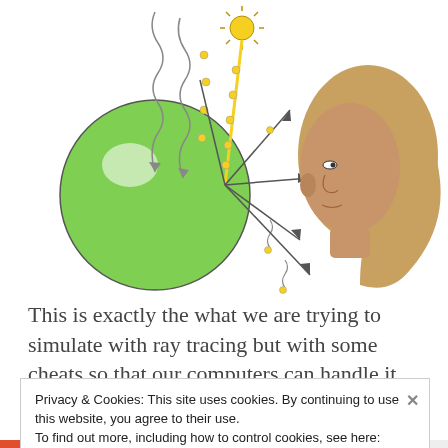[Figure (illustration): Ray tracing diagram: a green sphere on the left, a sun symbol at the top center emitting wavy rays (yellow beam plus multiple arrows with wavy lines indicating light rays), and a side-profile illustration of a woman's head on the right. Arrows radiate from the point where the light hits the sphere outward toward the viewer's eye, showing reflection and scattering of light.]
This is exactly the what we are trying to simulate with ray tracing but with some cheats so that our computers can handle it. In our scene we will have a light source, some
Privacy & Cookies: This site uses cookies. By continuing to use this website, you agree to their use.
To find out more, including how to control cookies, see here: Cookie Policy
Close and accept